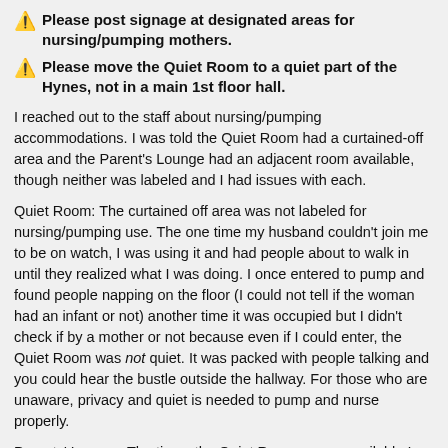⚠️ Please post signage at designated areas for nursing/pumping mothers.
⚠️ Please move the Quiet Room to a quiet part of the Hynes, not in a main 1st floor hall.
I reached out to the staff about nursing/pumping accommodations. I was told the Quiet Room had a curtained-off area and the Parent's Lounge had an adjacent room available, though neither was labeled and I had issues with each.
Quiet Room: The curtained off area was not labeled for nursing/pumping use. The one time my husband couldn't join me to be on watch, I was using it and had people about to walk in until they realized what I was doing. I once entered to pump and found people napping on the floor (I could not tell if the woman had an infant or not) another time it was occupied but I didn't check if by a mother or not because even if I could enter, the Quiet Room was not quiet. It was packed with people talking and you could hear the bustle outside the hallway. For those who are unaware, privacy and quiet is needed to pump and nurse properly.
Parents' Lounge: The times the Quiet Room was unavailable I went here. The map said the room adjacent was for nursing/pumping, however this was locked and a Staff member said "I don't know anything about it but its locked so..." So I used the Parents' Lounge which did not have a